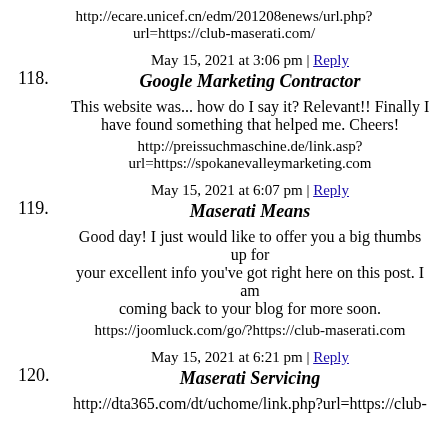http://ecare.unicef.cn/edm/201208enews/url.php?url=https://club-maserati.com/
118. May 15, 2021 at 3:06 pm | Reply
Google Marketing Contractor
This website was... how do I say it? Relevant!! Finally I have found something that helped me. Cheers!
http://preissuchmaschine.de/link.asp?url=https://spokanevalleymarketing.com
119. May 15, 2021 at 6:07 pm | Reply
Maserati Means
Good day! I just would like to offer you a big thumbs up for your excellent info you've got right here on this post. I am coming back to your blog for more soon.
https://joomluck.com/go/?https://club-maserati.com
120. May 15, 2021 at 6:21 pm | Reply
Maserati Servicing
http://dta365.com/dt/uchome/link.php?url=https://club-